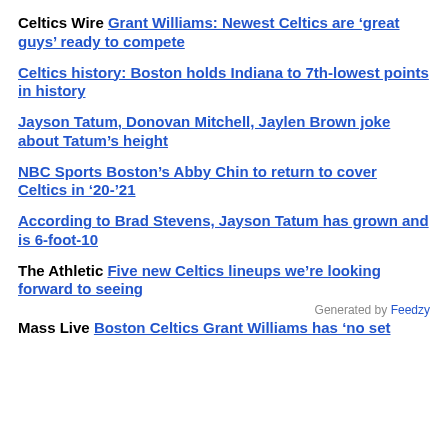Celtics Wire Grant Williams: Newest Celtics are 'great guys' ready to compete
Celtics history: Boston holds Indiana to 7th-lowest points in history
Jayson Tatum, Donovan Mitchell, Jaylen Brown joke about Tatum's height
NBC Sports Boston's Abby Chin to return to cover Celtics in '20-'21
According to Brad Stevens, Jayson Tatum has grown and is 6-foot-10
The Athletic Five new Celtics lineups we're looking forward to seeing
Generated by Feedzy
Mass Live Boston Celtics Grant Williams has 'no set